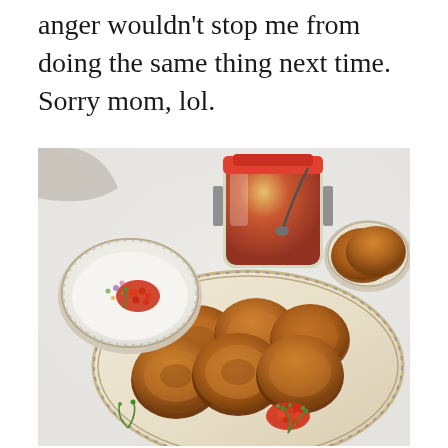anger wouldn't stop me from doing the same thing next time. Sorry mom, lol.
[Figure (photo): Overhead photo of a food spread: a decorative oval platter with golden-brown blini (Russian pancakes), a bowl with cream cheese/sour cream topped with red caviar and edible flowers, a glass jar of red jam/caviar with a spoon, a small plate with more blini, and garnishes of fresh dill on a white table.]